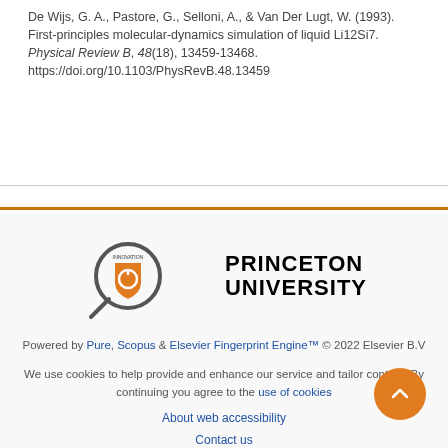De Wijs, G. A., Pastore, G., Selloni, A., & Van Der Lugt, W. (1993). First-principles molecular-dynamics simulation of liquid Li12Si7. Physical Review B, 48(18), 13459–13468. https://doi.org/10.1103/PhysRevB.48.13459
[Figure (logo): Princeton University logo with magnifying glass icon and bold text PRINCETON UNIVERSITY]
Powered by Pure, Scopus & Elsevier Fingerprint Engine™ © 2022 Elsevier B.V
We use cookies to help provide and enhance our service and tailor content. By continuing you agree to the use of cookies
About web accessibility
Contact us